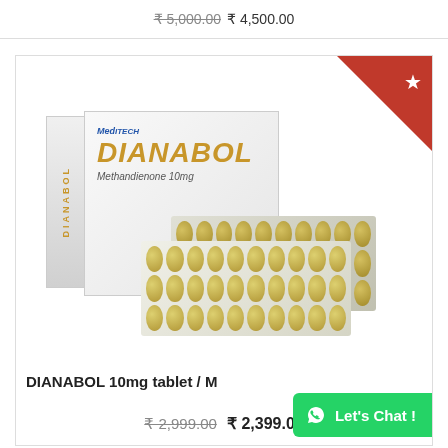₹ 5,000.00 ₹ 4,500.00
[Figure (photo): Product image of Dianabol 10mg tablet box by Meditech with blister pack of tablets]
DIANABOL 10mg tablet / M
₹ 2,999.00 ₹ 2,399.00
Let's Chat !